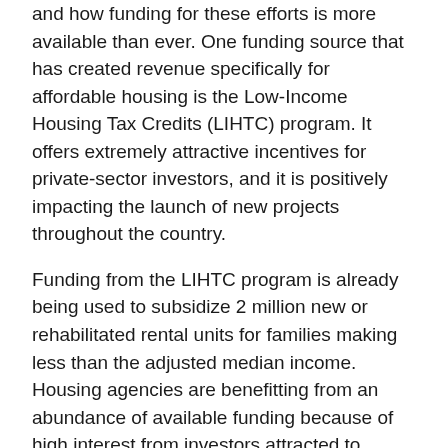and how funding for these efforts is more available than ever. One funding source that has created revenue specifically for affordable housing is the Low-Income Housing Tax Credits (LIHTC) program. It offers extremely attractive incentives for private-sector investors, and it is positively impacting the launch of new projects throughout the country.
Funding from the LIHTC program is already being used to subsidize 2 million new or rehabilitated rental units for families making less than the adjusted median income. Housing agencies are benefitting from an abundance of available funding because of high interest from investors attracted to developments eligible for tax credits. These types of public-private partnerships represent a trend worth watching.
In Maine, LIHTC funding will be used to leverage over a third of the $22.4 million budget commitment to develop 46 new affordable housing units. This effort is still in the design stage,